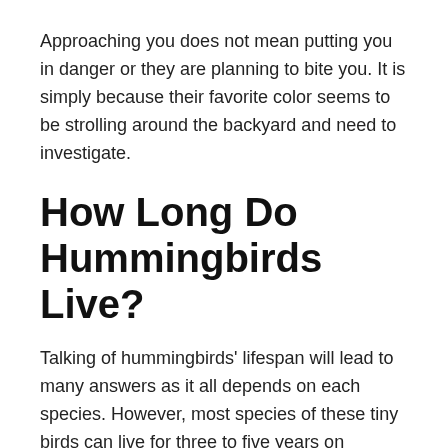Approaching you does not mean putting you in danger or they are planning to bite you. It is simply because their favorite color seems to be strolling around the backyard and need to investigate.
How Long Do Hummingbirds Live?
Talking of hummingbirds' lifespan will lead to many answers as it all depends on each species. However, most species of these tiny birds can live for three to five years on average.
It said so, as long as they successfully acclimate